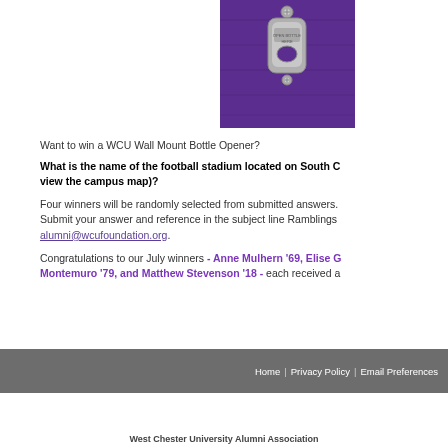[Figure (photo): A WCU Wall Mount Bottle Opener mounted on a purple wooden board, featuring a metal bottle opener with 'Open Bottle Here' text]
Want to win a WCU Wall Mount Bottle Opener?
What is the name of the football stadium located on South C... view the campus map)?
Four winners will be randomly selected from submitted answers. Submit your answer and reference in the subject line Ramblings alumni@wcufoundation.org.
Congratulations to our July winners - Anne Mulhern '69, Elise G... Montemuro '79, and Matthew Stevenson '18 - each received a...
Home | Privacy Policy | Email Preferences
West Chester University Alumni Association